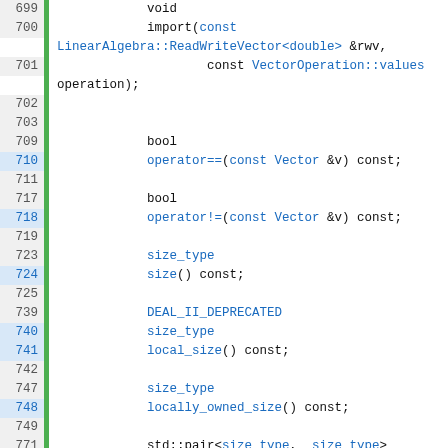[Figure (screenshot): C++ source code listing showing class member function declarations including import, operator==, operator!=, size, local_size, locally_owned_size, local_range, in_local_range, locally_owned_elements, with line numbers 699-807 and a green gutter bar on the left.]